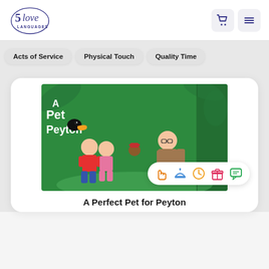[Figure (logo): 5 Love Languages logo — circular emblem with italic text]
[Figure (illustration): Navigation bar icons: shopping cart and hamburger menu in dark blue/purple]
Acts of Service
Physical Touch
Quality Time
[Figure (illustration): Book cover for 'A Perfect Pet for Peyton' — green background with cartoon children, a zookeeper, and animals. Overlaid with 5 love language icons: hand (touch), bell (service), clock (time), gift, and speech bubble (words).]
A Perfect Pet for Peyton